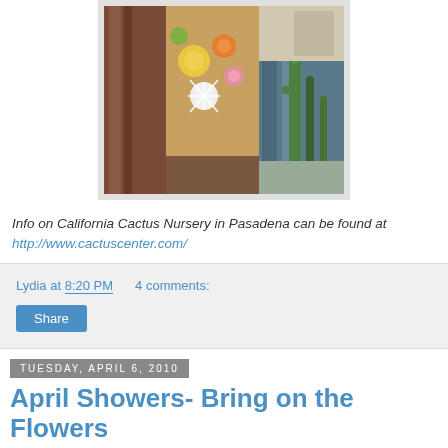[Figure (photo): Photo of a wooden doorway/frame with colorful blooming cacti visible inside, and tall cacti visible to the right side outside the frame. Taken at California Cactus Nursery in Pasadena.]
Info on California Cactus Nursery in Pasadena can be found at http://www.cactuscenter.com/
Lydia at 8:20 PM    4 comments:
Share
Tuesday, April 6, 2010
April Showers- Bring on the Flowers